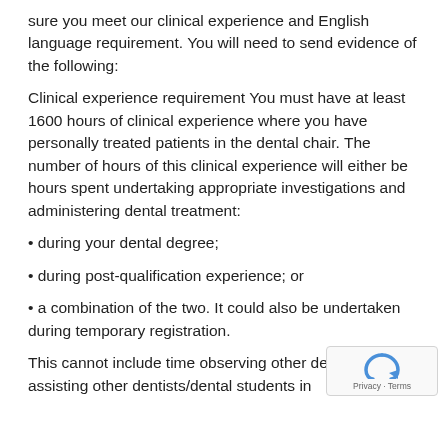sure you meet our clinical experience and English language requirement. You will need to send evidence of the following:
Clinical experience requirement You must have at least 1600 hours of clinical experience where you have personally treated patients in the dental chair. The number of hours of this clinical experience will either be hours spent undertaking appropriate investigations and administering dental treatment:
• during your dental degree;
• during post-qualification experience; or
• a combination of the two. It could also be undertaken during temporary registration.
This cannot include time observing other dentists, assisting other dentists/dental students in